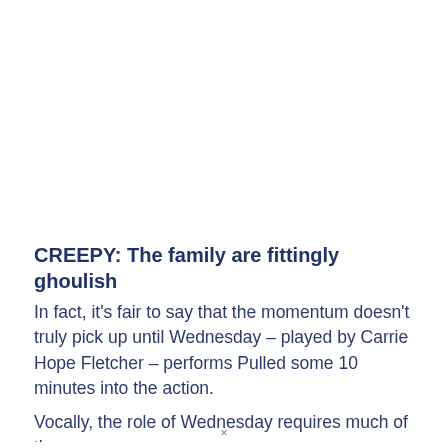CREEPY: The family are fittingly ghoulish
In fact, it's fair to say that the momentum doesn't truly pick up until Wednesday – played by Carrie Hope Fletcher – performs Pulled some 10 minutes into the action.
Vocally, the role of Wednesday requires much of the